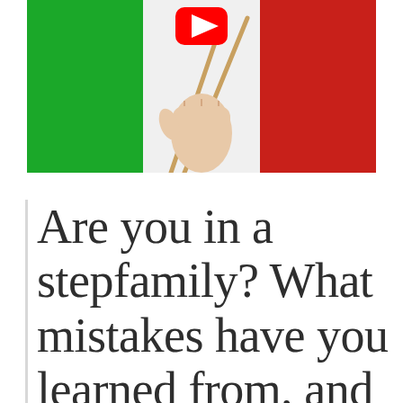[Figure (photo): Italian flag (green, white, red vertical stripes) with a hand holding chopsticks emerging from the center white stripe, and a YouTube play button icon overlaid at the top center.]
Are you in a stepfamily? What mistakes have you learned from, and